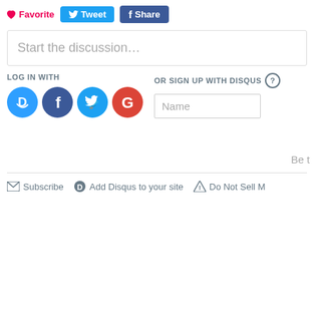[Figure (screenshot): Social sharing buttons: heart Favorite, Tweet, f Share]
Start the discussion…
LOG IN WITH
OR SIGN UP WITH DISQUS ?
[Figure (illustration): Social login icons: Disqus (blue), Facebook (dark blue), Twitter (light blue), Google (red)]
Name
Be t
✉ Subscribe   ⓓ Add Disqus to your site   ▲ Do Not Sell M